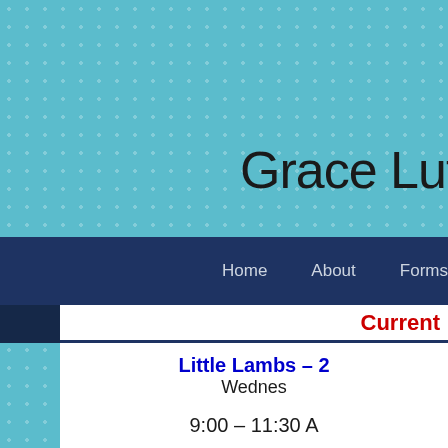[Figure (screenshot): Teal polka-dot patterned background for website header]
Grace Luth
Home   About   Forms   Reso
Current
Little Lambs – 2
Wednes
Enjoy the first year of preschool with your learn simple skills, sing songs, cr
9:00 – 11:30 A
The 3 Year Old class develops social sk